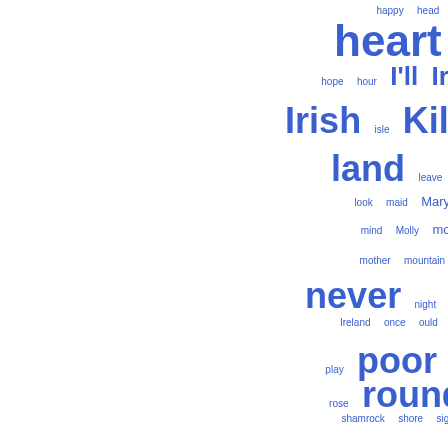[Figure (infographic): Word cloud of Irish-themed words, sized by frequency, in blue on white background. Words include: happy, head, hear, heard, heart, heaven, hills, hope, hour, I'll, Ireland, Irish, isle, Kilkenny, land, leave, light, live, look, maid, Mary, meet, mind, Molly, morning, mother, mountain, ne'er, never, night, o'er, old Ireland, once, ould, Paddy, play, poor, pride, rest, rose, round, seen, shamrock, shore, sigh, sing, smile, song, soon, soul, stand, sure, sweet, tears, tell, thee, there's, thou, thought, took, town, true, turned, twas, voice]